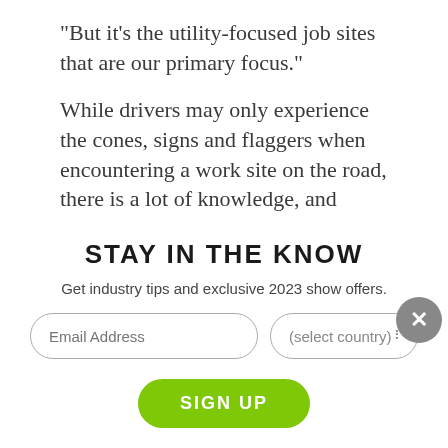“But it’s the utility-focused job sites that are our primary focus.”
While drivers may only experience the cones, signs and flaggers when encountering a work site on the road, there is a lot of knowledge, and technology, behind it all.
“Traffic Management creates the spec and plan for any job site,” said Joshua Turk, one of Traffic
STAY IN THE KNOW
Get industry tips and exclusive 2023 show offers.
Email Address
(select country)
SIGN UP